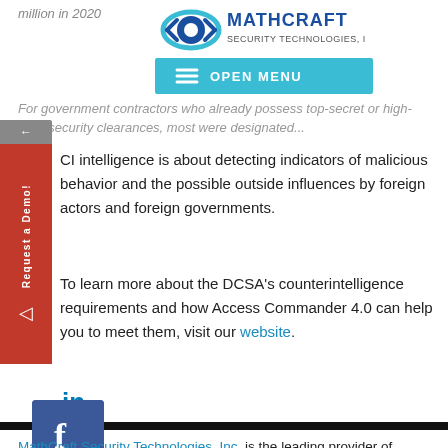million in 2020
[Figure (logo): MathCraft Security Technologies, Inc. logo with eye icon]
[Figure (screenshot): Teal navigation bar with hamburger menu icon and OPEN MENU text]
For government contractors who already possess top-secret or high-level security clearances, most were designated...
CI intelligence is about detecting indicators of malicious behavior and the possible outside influences by foreign actors and foreign governments.
To learn more about the DCSA’s counterintelligence requirements and how Access Commander 4.0 can help you to meet them, visit our website.
[Figure (logo): LinkedIn 'in' icon in blue]
[Figure (logo): Facebook 'f' icon in blue square]
MathCraft Security Technologies, Inc. is the leading provider of innovative software and technologies for Industrial Security professionals. Our tools are compliant with NISPOM and are